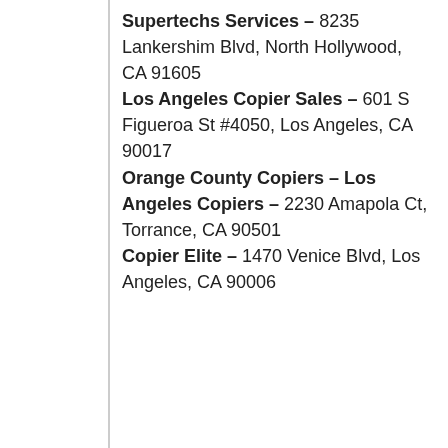Supertechs Services – 8235 Lankershim Blvd, North Hollywood, CA 91605
Los Angeles Copier Sales – 601 S Figueroa St #4050, Los Angeles, CA 90017
Orange County Copiers – Los Angeles Copiers – 2230 Amapola Ct, Torrance, CA 90501
Copier Elite – 1470 Venice Blvd, Los Angeles, CA 90006
We have thousands of copiers in stock. LA-Copier.com will help your business save money by finding the best price for your office copier needs! We'll also give you copier service contract quotes, options to buy and lease a business copier, and more! We have discounted all the best rated copier brands like HP, Canon, Ricoh, Xerox, and many more! We have 40% discounts and low prices on all types